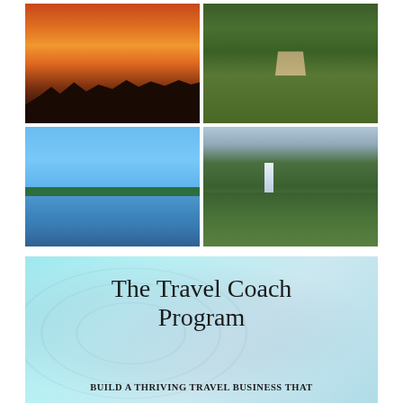[Figure (photo): Four landscape photos in a 2x2 grid: top-left shows a sunset with orange/red sky and silhouetted trees; top-right shows a green bushy trail path; bottom-left shows a blue lake with clear sky; bottom-right shows a waterfall in a green gorge with cloudy sky.]
[Figure (infographic): The Travel Coach Program promotional banner with cyan/light blue background, world map watermark, title 'The Travel Coach Program' and subtitle 'Build a thriving travel business that']